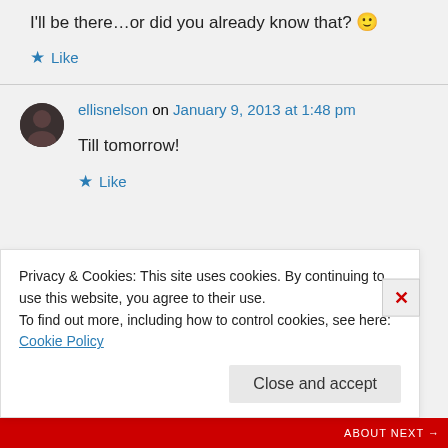I'll be there…or did you already know that? 🙂
★ Like
ellisnelson on January 9, 2013 at 1:48 pm
Till tomorrow!
★ Like
Privacy & Cookies: This site uses cookies. By continuing to use this website, you agree to their use. To find out more, including how to control cookies, see here: Cookie Policy
Close and accept